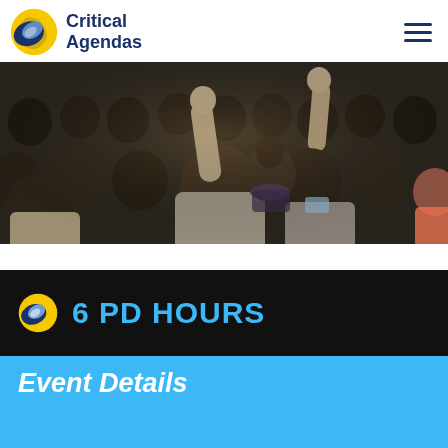Critical Agendas
[Figure (photo): Audience of attendees at a conference or seminar, many with hands raised, viewed from behind]
6 PD HOURS
Event Details